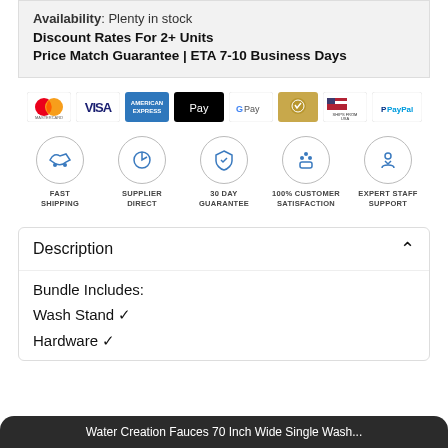Availability: Plenty in stock
Discount Rates For 2+ Units
Price Match Guarantee | ETA 7-10 Business Days
[Figure (logo): Payment method icons: Mastercard, Visa, American Express, Apple Pay, Google Pay, security badge, Ships from USA, PayPal]
[Figure (infographic): Trust badges: Fast Shipping, Supplier Direct, 30 Day Guarantee, 100% Customer Satisfaction, Expert Staff Support]
Description
Bundle Includes:
Wash Stand ✔
Hardware ✔
Water Creation Fauces 70 Inch Wide Single Wash...